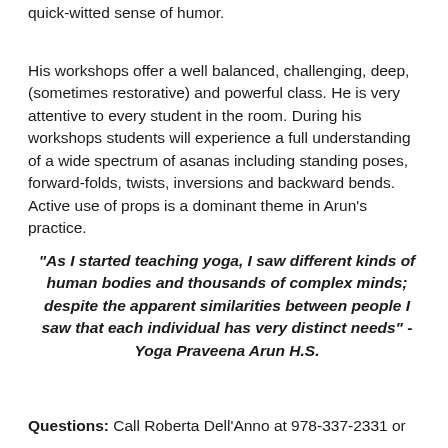quick-witted sense of humor.
His workshops offer a well balanced, challenging, deep, (sometimes restorative) and powerful class. He is very attentive to every student in the room. During his workshops students will experience a full understanding of a wide spectrum of asanas including standing poses, forward-folds, twists, inversions and backward bends. Active use of props is a dominant theme in Arun’s practice.
“As I started teaching yoga, I saw different kinds of human bodies and thousands of complex minds; despite the apparent similarities between people I saw that each individual has very distinct needs” -Yoga Praveena Arun H.S.
Questions:  Call Roberta Dell’Anno at  978-337-2331 or